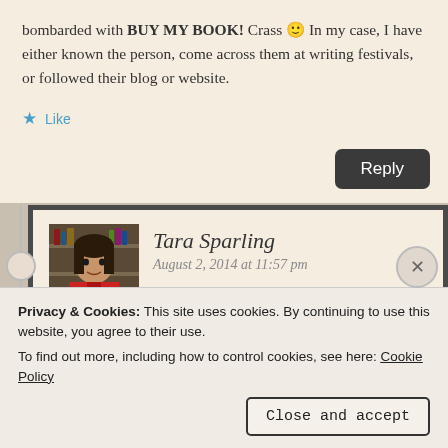bombarded with BUY MY BOOK! Crass 🙂 In my case, I have either known the person, come across them at writing festivals, or followed their blog or website.
★ Like
Reply
Tara Sparling
August 2, 2014 at 11:57 pm
Privacy & Cookies: This site uses cookies. By continuing to use this website, you agree to their use.
To find out more, including how to control cookies, see here: Cookie Policy
Close and accept